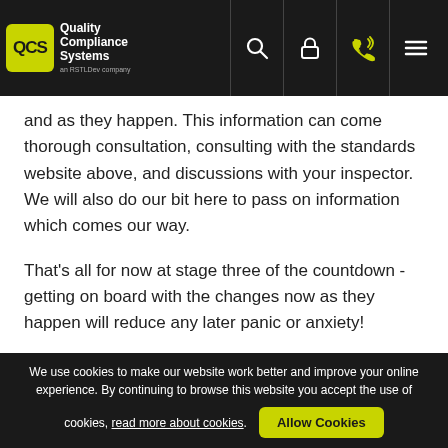QCS Quality Compliance Systems
and as they happen. This information can come thorough consultation, consulting with the standards website above, and discussions with your inspector. We will also do our bit here to pass on information which comes our way.
That's all for now at stage three of the countdown - getting on board with the changes now as they happen will reduce any later panic or anxiety!
*All information is correct at the time of publishing. Use of this material is subject to your acceptance of our terms and conditions.
We use cookies to make our website work better and improve your online experience. By continuing to browse this website you accept the use of cookies, read more about cookies. Allow Cookies